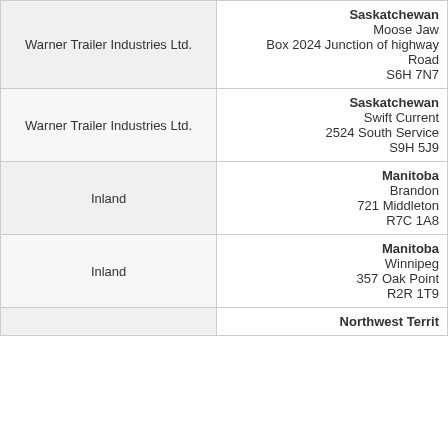| Company | Location |
| --- | --- |
| Warner Trailer Industries Ltd. | Saskatchewan
Moose Jaw
Box 2024 Junction of highway
Road
S6H 7N7 |
| Warner Trailer Industries Ltd. | Saskatchewan
Swift Current
2524 South Service
S9H 5J9 |
| Inland | Manitoba
Brandon
721 Middleton
R7C 1A8 |
| Inland | Manitoba
Winnipeg
357 Oak Point
R2R 1T9 |
|  | Northwest Territories |